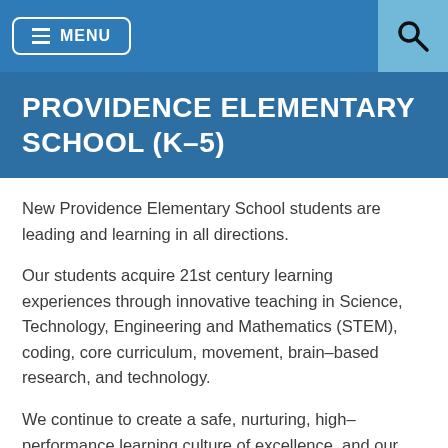≡ MENU
PROVIDENCE ELEMENTARY SCHOOL (K–5)
New Providence Elementary School students are leading and learning in all directions.
Our students acquire 21st century learning experiences through innovative teaching in Science, Technology, Engineering and Mathematics (STEM), coding, core curriculum, movement, brain–based research, and technology.
We continue to create a safe, nurturing, high–performance learning culture of excellence, and our